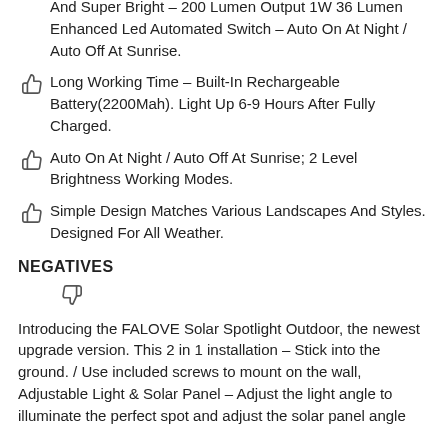And Super Bright – 200 Lumen Output 1W 36 Lumen Enhanced Led Automated Switch – Auto On At Night / Auto Off At Sunrise.
Long Working Time – Built-In Rechargeable Battery(2200Mah). Light Up 6-9 Hours After Fully Charged.
Auto On At Night / Auto Off At Sunrise; 2 Level Brightness Working Modes.
Simple Design Matches Various Landscapes And Styles. Designed For All Weather.
NEGATIVES
Introducing the FALOVE Solar Spotlight Outdoor, the newest upgrade version. This 2 in 1 installation – Stick into the ground. / Use included screws to mount on the wall, Adjustable Light & Solar Panel – Adjust the light angle to illuminate the perfect spot and adjust the solar panel angle